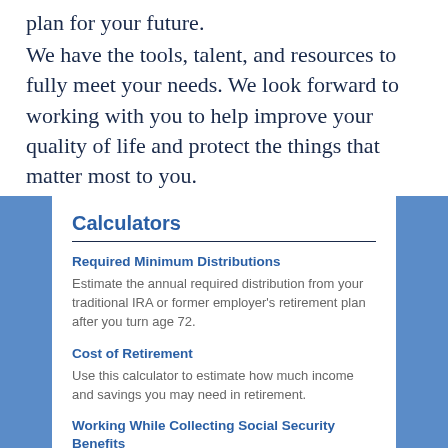plan for your future.
We have the tools, talent, and resources to fully meet your needs. We look forward to working with you to help improve your quality of life and protect the things that matter most to you.
Calculators
Required Minimum Distributions
Estimate the annual required distribution from your traditional IRA or former employer's retirement plan after you turn age 72.
Cost of Retirement
Use this calculator to estimate how much income and savings you may need in retirement.
Working While Collecting Social Security Benefits